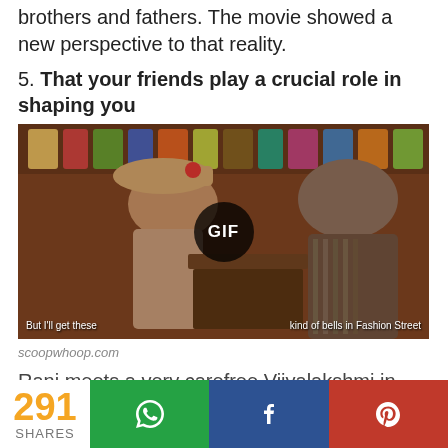brothers and fathers. The movie showed a new perspective to that reality.
5. That your friends play a crucial role in shaping you
[Figure (photo): Movie still/GIF showing a woman in a hat and a man in a store, with subtitle text 'But I'll get these kind of bells in Fashion Street']
scoopwhoop.com
Rani meets a very carefree Vijyalakshmi in Paris who becomes her close friend and plays an important role in getting her out of her shell, making her confident and stronger. Later on in Amsterdam, Rani meets
291 SHARES